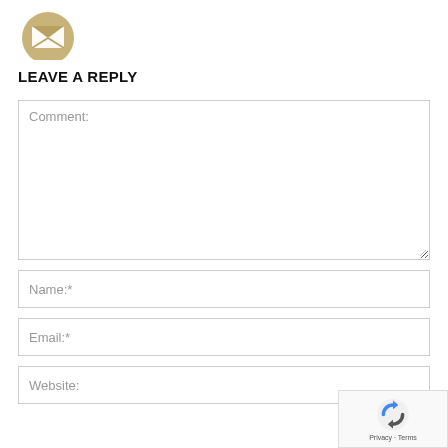[Figure (illustration): Email/envelope icon in a gold/beige circular badge, partially cropped at top-left]
LEAVE A REPLY
Comment:
Name:*
Email:*
Website:
[Figure (logo): reCAPTCHA badge with Privacy and Terms links]